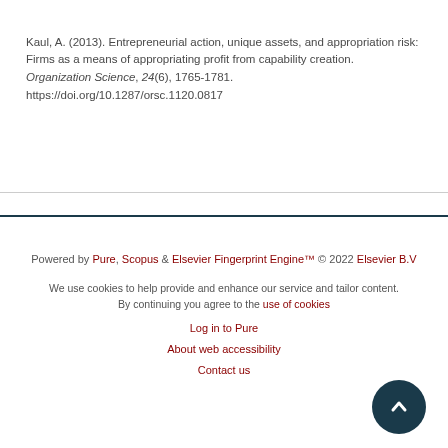Kaul, A. (2013). Entrepreneurial action, unique assets, and appropriation risk: Firms as a means of appropriating profit from capability creation. Organization Science, 24(6), 1765-1781. https://doi.org/10.1287/orsc.1120.0817
Powered by Pure, Scopus & Elsevier Fingerprint Engine™ © 2022 Elsevier B.V

We use cookies to help provide and enhance our service and tailor content. By continuing you agree to the use of cookies

Log in to Pure

About web accessibility

Contact us